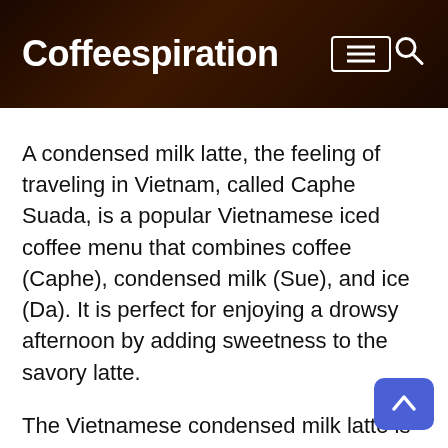Coffeespiration
A condensed milk latte, the feeling of traveling in Vietnam, called Caphe Suada, is a popular Vietnamese iced coffee menu that combines coffee (Caphe), condensed milk (Sue), and ice (Da). It is perfect for enjoying a drowsy afternoon by adding sweetness to the savory latte.
The Vietnamese condensed milk latte is recommended to have a deeper taste by using heavy-bodied Brazilian beans. The flavor of the coffee beans you prefer varies depending on the individual, so you can choose according to your preference.
Last but not least, you can use a portable espresso machine to make this coffee or other coffee drinks. If